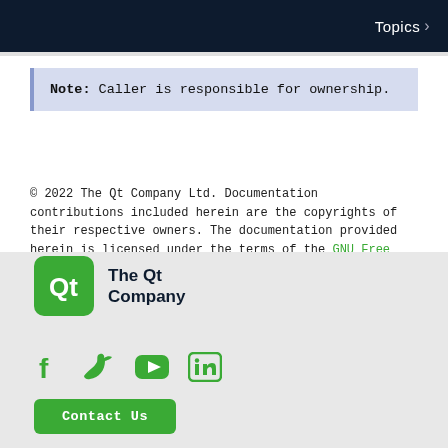Topics >
Note: Caller is responsible for ownership.
© 2022 The Qt Company Ltd. Documentation contributions included herein are the copyrights of their respective owners. The documentation provided herein is licensed under the terms of the GNU Free Documentation License version 1.3 as published by the Free Software Foundation. Qt and respective logos are trademarks of The Qt Company Ltd. in Finland and/or other countries worldwide. All other trademarks are property of their respective owners.
[Figure (logo): Qt Company logo: green rounded square with 'Qt' text in white, followed by 'The Qt Company' text]
[Figure (infographic): Social media icons: Facebook, Twitter, YouTube, LinkedIn in green]
Contact Us